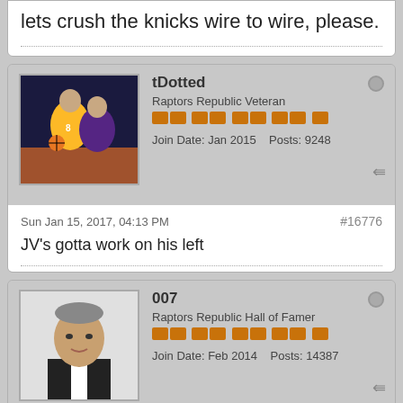lets crush the knicks wire to wire, please.
tDotted
Raptors Republic Veteran
Join Date: Jan 2015  Posts: 9248
Sun Jan 15, 2017, 04:13 PM  #16776
JV's gotta work on his left
007
Raptors Republic Hall of Famer
Join Date: Feb 2014  Posts: 14387
Sun Jan 15, 2017, 04:14 PM  #16777
JV padding the rebounds again lol